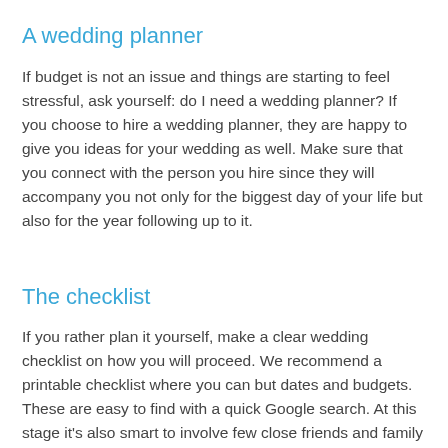A wedding planner
If budget is not an issue and things are starting to feel stressful, ask yourself: do I need a wedding planner? If you choose to hire a wedding planner, they are happy to give you ideas for your wedding as well. Make sure that you connect with the person you hire since they will accompany you not only for the biggest day of your life but also for the year following up to it.
The checklist
If you rather plan it yourself, make a clear wedding checklist on how you will proceed. We recommend a printable checklist where you can but dates and budgets. These are easy to find with a quick Google search. At this stage it's also smart to involve few close friends and family to help out.